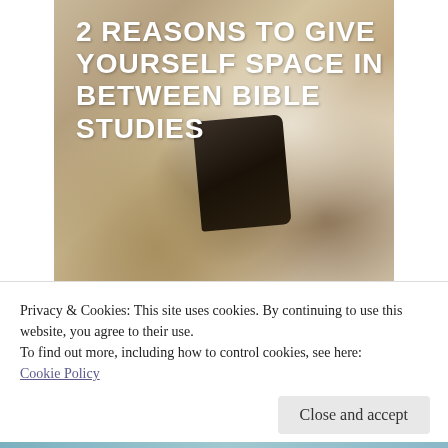[Figure (photo): A person holding a dark leather Bible/journal at their side, standing in a field with blurred natural background. White bold text overlaid reads '2 REASONS TO GIVE YOURSELF SPACE IN BETWEEN BIBLE STUDIES'.]
Privacy & Cookies: This site uses cookies. By continuing to use this website, you agree to their use.
To find out more, including how to control cookies, see here: Cookie Policy
Close and accept